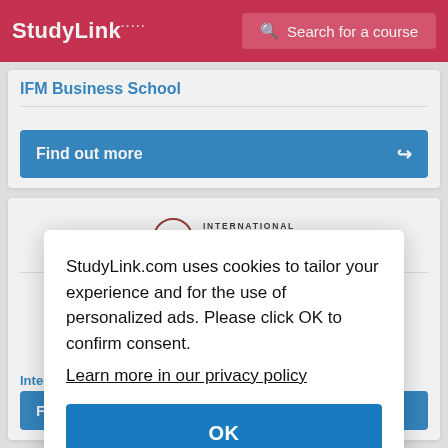StudyLink | Search for a course
IFM Business School
Find out more
[Figure (logo): International Career Institute logo with circular emblem and text INTERNATIONAL CAREER INSTITUTE]
Intern
Find
StudyLink.com uses cookies to tailor your experience and for the use of personalized ads. Please click OK to confirm consent.
Learn more in our privacy policy
OK